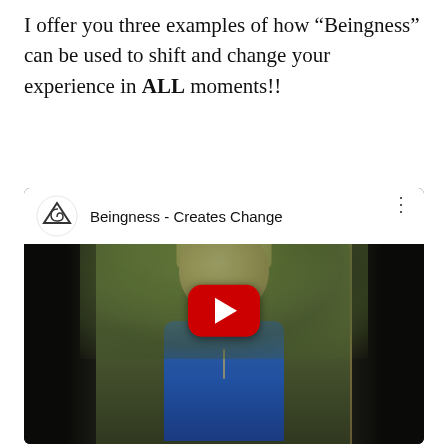I offer you three examples of how “Beingness” can be used to shift and change your experience in ALL moments!!
[Figure (screenshot): Embedded YouTube video thumbnail showing a woman with short blonde hair outdoors among green foliage, with a red YouTube play button in the center. The video title reads 'Beingness - Creates Change' with a YouTube channel logo (triangle with spiral) in the top-left corner.]